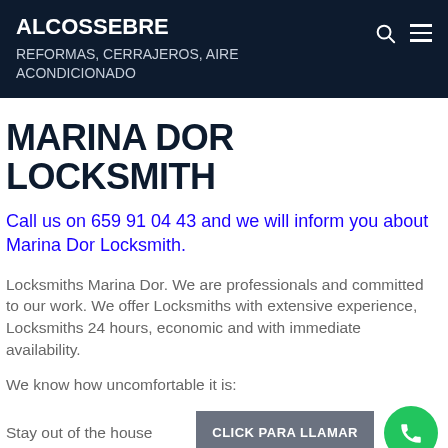ALCOSSEBRE
REFORMAS, CERRAJEROS, AIRE ACONDICIONADO
MARINA DOR LOCKSMITH
Call us on 659 91 04 43 and we will inform you about Marina Dor Locksmith.
Locksmiths Marina Dor. We are professionals and committed to our work. We offer Locksmiths with extensive experience, Locksmiths 24 hours, economic and with immediate availability.
We know how uncomfortable it is:
Stay out of the house